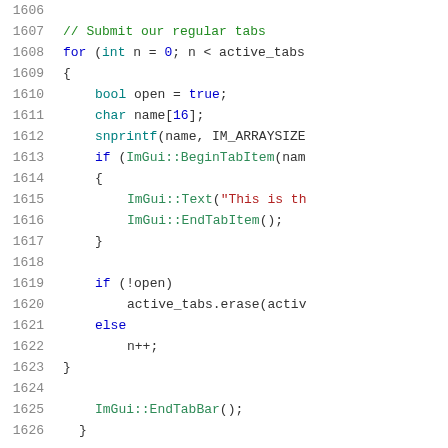[Figure (screenshot): Source code listing lines 1606-1626 in C++, showing a for loop that submits regular tabs using ImGui tab bar API. Syntax highlighted with line numbers.]